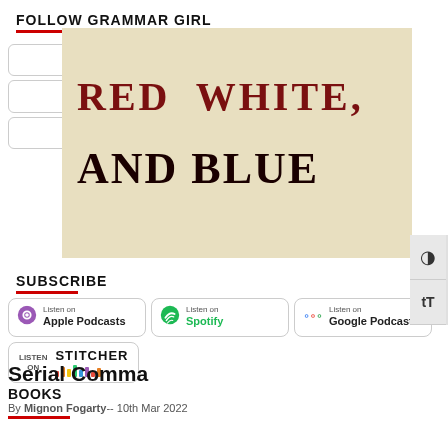FOLLOW GRAMMAR GIRL
Facebook
Twitter
Instagram
Tik Tok
LinkedIn
[Figure (photo): Book cover with text RED WHITE AND BLUE on aged paper background]
SUBSCRIBE
Listen on Apple Podcasts
Listen on Spotify
Listen on Google Podcasts
Listen on Stitcher
Serial Comma
BOOKS
By Mignon Fogarty -- 10th Mar 2022